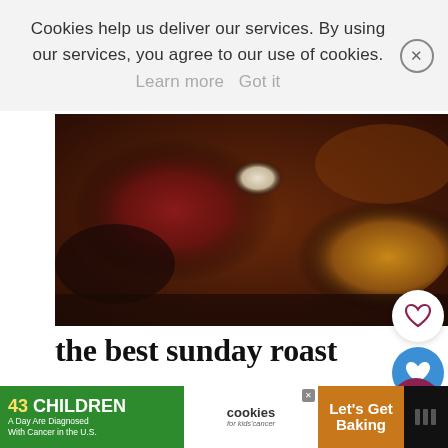Cookies help us deliver our services. By using our services, you agree to our use of cookies. Learn more   Got it
[Figure (photo): Close-up food photo of a roasted meat dish, dark red and golden-brown tones, in a baking tray]
the best sunday roast
When I first started making roasts which was almost 20 years ago..(OMG how ol… would always use a leg of lamb but I prefer a
[Figure (infographic): WHAT'S NEXT: Carrot and Walnut Cake preview widget with circular food image]
[Figure (infographic): Advertisement banner: 43 CHILDREN A Day Are Diagnosed With Cancer in the U.S. / cookies for kids cancer / Let's Get Baking]